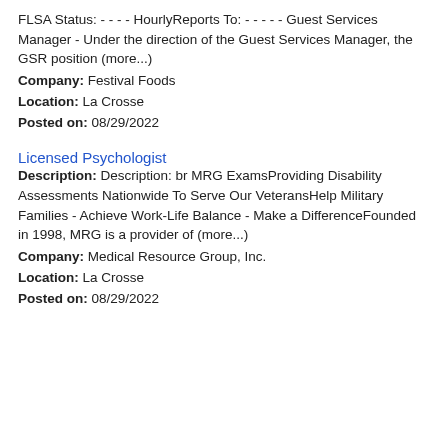FLSA Status: - - - - HourlyReports To: - - - - - Guest Services Manager - Under the direction of the Guest Services Manager, the GSR position (more...)
Company: Festival Foods
Location: La Crosse
Posted on: 08/29/2022
Licensed Psychologist
Description: Description: br MRG ExamsProviding Disability Assessments Nationwide To Serve Our VeteransHelp Military Families - Achieve Work-Life Balance - Make a DifferenceFounded in 1998, MRG is a provider of (more...)
Company: Medical Resource Group, Inc.
Location: La Crosse
Posted on: 08/29/2022